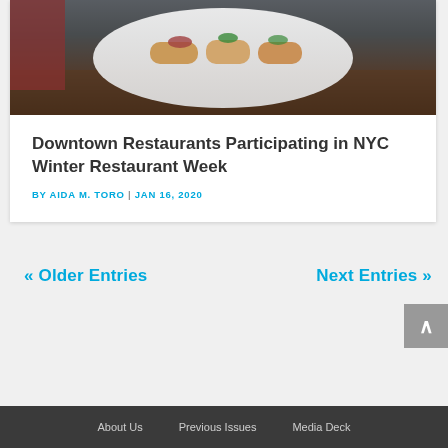[Figure (photo): A waiter holding a white plate with appetizers topped with garnish in a restaurant setting.]
Downtown Restaurants Participating in NYC Winter Restaurant Week
BY AIDA M. TORO | JAN 16, 2020
« Older Entries
Next Entries »
About Us   Previous Issues   Media Deck